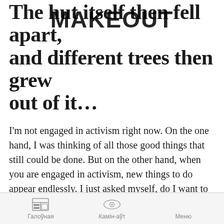The hut itself then fell apart, and different trees then grew out of it…
[Figure (other): MAKEOUT watermark/overlay text in bold black capital letters superimposed over the title text]
I'm not engaged in activism right now. On the one hand, I was thinking of all those good things that still could be done. But on the other hand, when you are engaged in activism, new things to do appear endlessly. I just asked myself, do I want to do this all my life, do I want to continue to follow this path? And I realized that I didn't want to or couldn't... I want to live, not fight. Yes, this is my fight, but I can't do this all my life. I think that I will leave Belarus. I used to have an opportunity to leave, but then I decided that I wanted to do something here and develop it… As sad as it is, if I had an opportunity to give myself advice in the past, I would have said to my past self to emigrate. Perhaps it will be better there, not
Галоўная   Камін-аўт   Меню